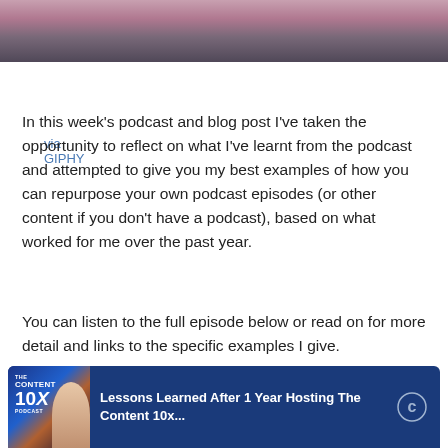[Figure (photo): Top portion of an image showing people in colorful clothing, partially cropped]
via GIPHY
In this week's podcast and blog post I've taken the opportunity to reflect on what I've learnt from the podcast and attempted to give you my best examples of how you can repurpose your own podcast episodes (or other content if you don't have a podcast), based on what worked for me over the past year.
You can listen to the full episode below or read on for more detail and links to the specific examples I give.
[Figure (screenshot): Podcast player card for 'The Content 10x Podcast' with blue background, showing title 'Lessons Learned After 1 Year Hosting The Content 10x...' and a Castbox/podcast icon on the right]